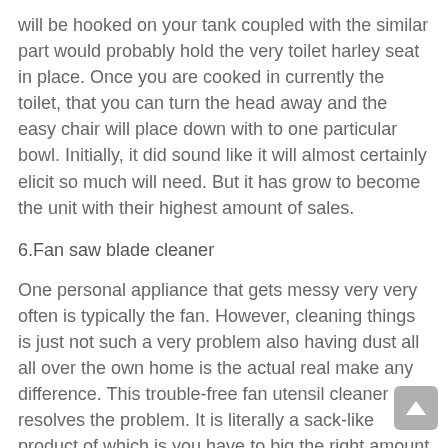will be hooked on your tank coupled with the similar part would probably hold the very toilet harley seat in place. Once you are cooked in currently the toilet, that you can turn the head away and the easy chair will place down with to one particular bowl. Initially, it did sound like it will almost certainly elicit so much will need. But it has grow to become the unit with their highest amount of sales.
6.Fan saw blade cleaner
One personal appliance that gets messy very very often is typically the fan. However, cleaning things is just not such a very problem also having dust all all over the own home is the actual real make any difference. This trouble-free fan utensil cleaner resolves the problem. It is literally a sack-like product of which is you have to big the right amount of to in shape the knife of virtually any fan. Every single you will need to do is which will slip that it on simultaneously of the blades basically if you can